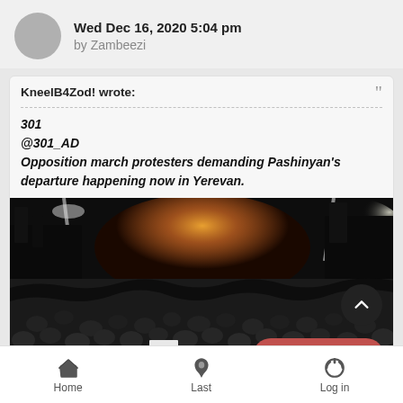Wed Dec 16, 2020 5:04 pm
by Zambeezi
KneelB4Zod! wrote:
301
@301_AD
Opposition march protesters demanding Pashinyan's departure happening now in Yerevan.
[Figure (photo): Nighttime crowd of opposition march protesters filling a street in Yerevan, with bright orange/yellow lights in the background and crowds of people in dark clothing filling the entire frame.]
Closed topic
Home  Last  Log in